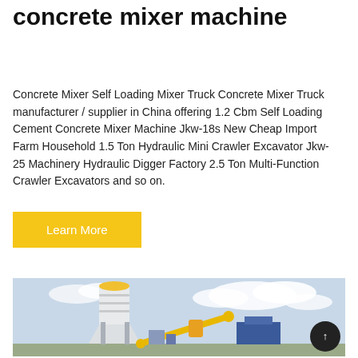concrete mixer machine
Concrete Mixer Self Loading Mixer Truck Concrete Mixer Truck manufacturer / supplier in China offering 1.2 Cbm Self Loading Cement Concrete Mixer Machine Jkw-18s New Cheap Import Farm Household 1.5 Ton Hydraulic Mini Crawler Excavator Jkw-25 Machinery Hydraulic Digger Factory 2.5 Ton Multi-Function Crawler Excavators and so on.
[Figure (other): Yellow Learn More button]
[Figure (photo): Photo of a concrete mixing plant with a tall white silo and yellow conveyor belt structure against a cloudy sky]